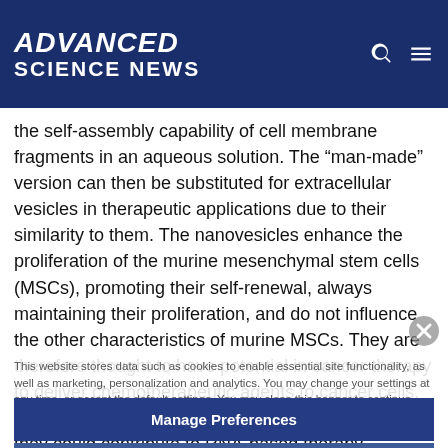ADVANCED SCIENCE NEWS
the self-assembly capability of cell membrane fragments in an aqueous solution. The “man-made” version can then be substituted for extracellular vesicles in therapeutic applications due to their similarity to them. The nanovesicles enhance the proliferation of the murine mesenchymal stem cells (MSCs), promoting their self-renewal, always maintaining their proliferation, and do not influence the other characteristics of murine MSCs. They are therefore thought to have potential in cancer therapy to deliver chemotherapeutic agents to cancer cells, or to deliver siRNA to recipient cells, implying that they could contribute to RNA-based therapy
This website stores data such as cookies to enable essential site functionality, as well as marketing, personalization and analytics. You may change your settings at any time, or accept the default settings. You may close this banner to continue with only essential cookies. Privacy Policy
Manage Preferences
Accept All
Reject All